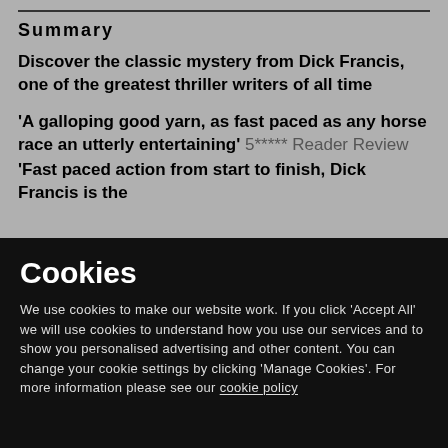Summary
Discover the classic mystery from Dick Francis, one of the greatest thriller writers of all time
'A galloping good yarn, as fast paced as any horse race an utterly entertaining' 5***** Reader Review
'Fast paced action from start to finish, Dick Francis is the
Cookies
We use cookies to make our website work. If you click 'Accept All' we will use cookies to understand how you use our services and to show you personalised advertising and other content. You can change your cookie settings by clicking 'Manage Cookies'. For more information please see our cookie policy
MANAGE COOKIE SETTINGS
ACCEPT ALL COOKIES